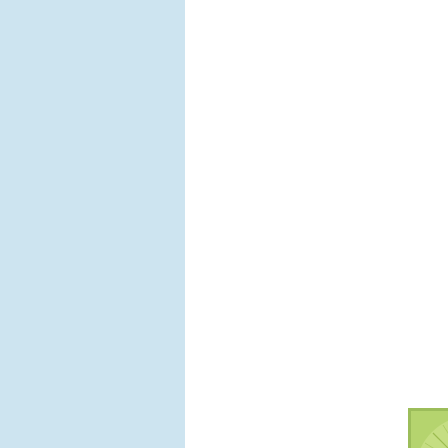transaction and neither one had notic…
So the thief got nothing. Bupkus. And… injured chasing a criminal.
That was over 20 years ago, and I sti… guy who hadn't even successfully sto…
Posted by: Skeptical Fanboy | June 19, 2007
[Figure (illustration): Green decorative avatar image with starburst/floral pattern on light green background]
Oh, wow... man, I need to get that bo…
I have 14 (and counting). Dilbert book… "Dogbert's Management Handbook" a… of every Dilbert book in existance. It n… bought be my first Dilbert books (5 of… 7/8) but Dilbert reminds me so much …
Scott Adams is the man. Thanks, Sco… 1991 (I guess because you had just l… some of the funniest material ever pu… perhaps bring back old (as possibly, n…
Posted by: BTTFVGO | June 19, 2007 at 01:5…